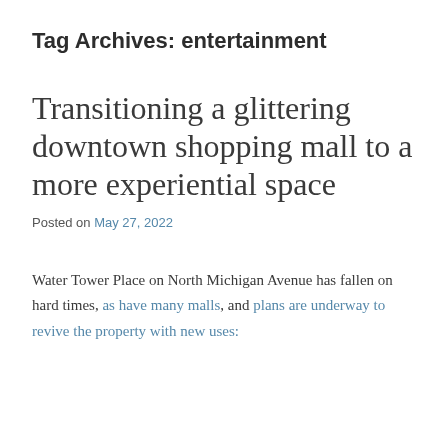Tag Archives: entertainment
Transitioning a glittering downtown shopping mall to a more experiential space
Posted on May 27, 2022
Water Tower Place on North Michigan Avenue has fallen on hard times, as have many malls, and plans are underway to revive the property with new uses: